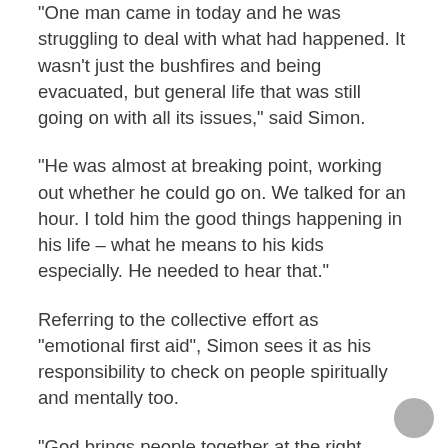“One man came in today and he was struggling to deal with what had happened. It wasn’t just the bushfires and being evacuated, but general life that was still going on with all its issues,” said Simon.
“He was almost at breaking point, working out whether he could go on. We talked for an hour. I told him the good things happening in his life – what he means to his kids especially. He needed to hear that.”
Referring to the collective effort as “emotional first aid”, Simon sees it as his responsibility to check on people spiritually and mentally too.
“God brings people together at the right place and the right time. Community comes together too,” he said. “It’s amazing to see people coming together, whether they know they are being used by God or not. The community is being used to heal itself.”